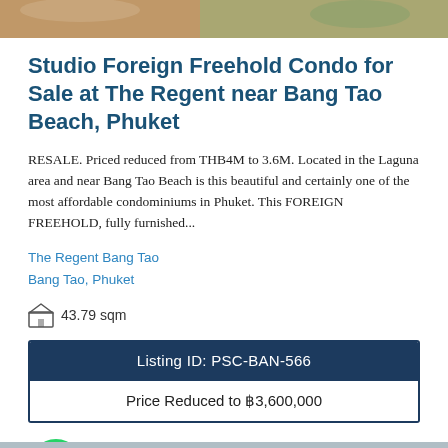[Figure (photo): Partial photo strip at top of page showing food/resort scene]
Studio Foreign Freehold Condo for Sale at The Regent near Bang Tao Beach, Phuket
RESALE. Priced reduced from THB4M to 3.6M. Located in the Laguna area and near Bang Tao Beach is this beautiful and certainly one of the most affordable condominiums in Phuket. This FOREIGN FREEHOLD, fully furnished...
The Regent Bang Tao
Bang Tao, Phuket
43.79 sqm
| Listing ID: PSC-BAN-566 |
| Price Reduced to ฿3,600,000 |
[Figure (other): WhatsApp contact button (green circle with WhatsApp icon)]
English